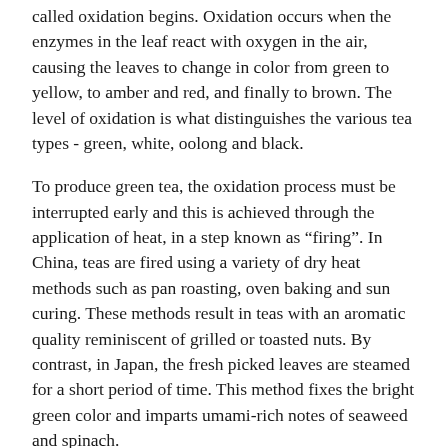called oxidation begins. Oxidation occurs when the enzymes in the leaf react with oxygen in the air, causing the leaves to change in color from green to yellow, to amber and red, and finally to brown. The level of oxidation is what distinguishes the various tea types - green, white, oolong and black.
To produce green tea, the oxidation process must be interrupted early and this is achieved through the application of heat, in a step known as "firing". In China, teas are fired using a variety of dry heat methods such as pan roasting, oven baking and sun curing. These methods result in teas with an aromatic quality reminiscent of grilled or toasted nuts. By contrast, in Japan, the fresh picked leaves are steamed for a short period of time. This method fixes the bright green color and imparts umami-rich notes of seaweed and spinach.
After firing, the leaves are shaped into various styles - twisted, curly, balled and needle - each with its own